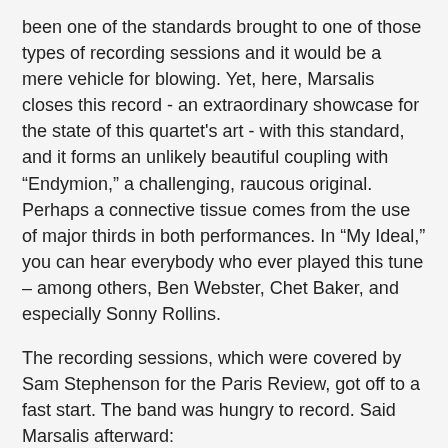been one of the standards brought to one of those types of recording sessions and it would be a mere vehicle for blowing. Yet, here, Marsalis closes this record - an extraordinary showcase for the state of this quartet's art - with this standard, and it forms an unlikely beautiful coupling with “Endymion,” a challenging, raucous original. Perhaps a connective tissue comes from the use of major thirds in both performances. In “My Ideal,” you can hear everybody who ever played this tune – among others, Ben Webster, Chet Baker, and especially Sonny Rollins.
The recording sessions, which were covered by Sam Stephenson for the Paris Review, got off to a fast start. The band was hungry to record. Said Marsalis afterward:
“This is the first record that happened this fast. It just clicked – bam, bam. It had never happened quite like that for us. On the first day we began at two o’clock and by six o’clock we had three songs in the can.”
Revis concurs: “Everything flowed. There has always been implicit trust in this band but for some reason with this